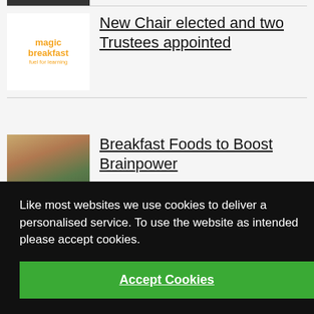[Figure (logo): Magic Breakfast logo - orange text reading 'magic breakfast fuel for learning' on white background]
New Chair elected and two Trustees appointed
[Figure (photo): Two female students in school uniforms looking at a book together]
Breakfast Foods to Boost Brainpower
[Figure (photo): Partial photo of children, partially obscured by cookie overlay]
government's Food
Like most websites we use cookies to deliver a personalised service. To use the website as intended please accept cookies.
Accept Cookies